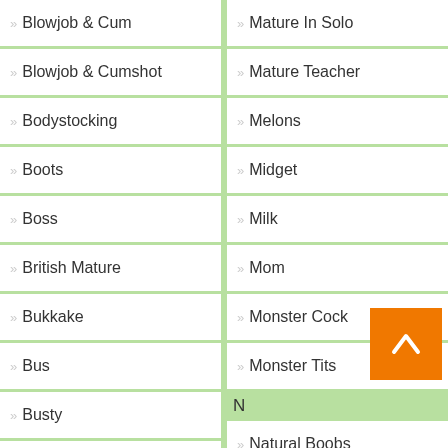Blowjob & Cum
Mature In Solo
Blowjob & Cumshot
Mature Teacher
Bodystocking
Melons
Boots
Midget
Boss
Milk
British Mature
Mom
Bukkake
Monster Cock
Bus
Monster Tits
N
Busty
Natural Boobs